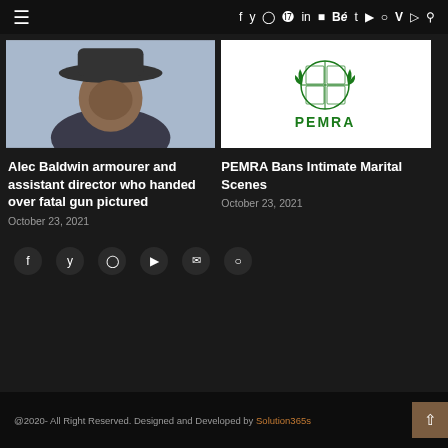☰  f y ⊙ ⊕ in ⊡ Bē t ▶ ⊙ v ⊃ 🔍
[Figure (photo): Close-up photo of a person wearing a wide-brimmed hat outdoors]
Alec Baldwin armourer and assistant director who handed over fatal gun pictured
October 23, 2021
[Figure (logo): PEMRA logo — green emblem with laurel wreath and the word PEMRA in green text on white background]
PEMRA Bans Intimate Marital Scenes
October 23, 2021
f  y  ⊙  ▶  ✉  ⊙
@2020- All Right Reserved. Designed and Developed by Solution365s